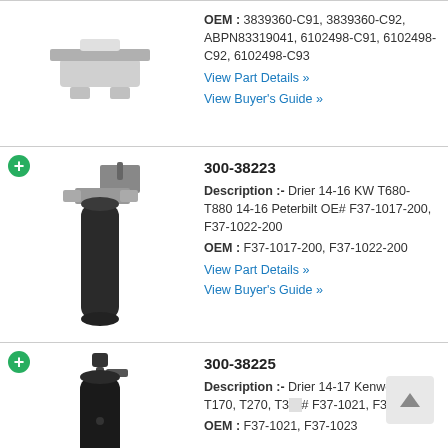[Figure (photo): Automotive connector or sensor bracket part, top row partial view]
OEM : 3839360-C91, 3839360-C92, ABPN83319041, 6102498-C91, 6102498-C92, 6102498-C93
View Part Details »
View Buyer's Guide »
300-38223
[Figure (photo): Black cylindrical A/C drier with mounting bracket, part 300-38223]
Description :- Drier 14-16 KW T680-T880 14-16 Peterbilt OE# F37-1017-200, F37-1022-200
OEM : F37-1017-200, F37-1022-200
View Part Details »
View Buyer's Guide »
300-38225
[Figure (photo): Black cylindrical A/C drier, part 300-38225, Kenworth T170 T270 T3xx]
Description :- Drier 14-17 Kenworth T170, T270, T3...# F37-1021, F37-1023
OEM : F37-1021, F37-1023